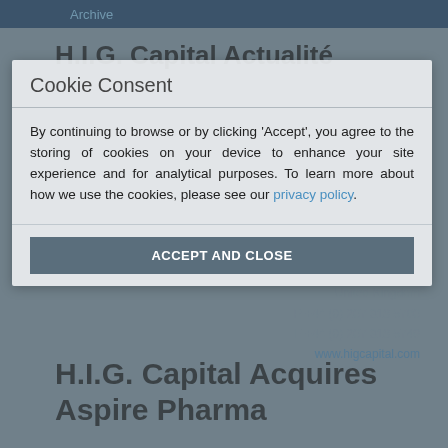Archive
H.I.G. Capital Actualité
Cookie Consent
By continuing to browse or by clicking 'Accept', you agree to the storing of cookies on your device to enhance your site experience and for analytical purposes. To learn more about how we use the cookies, please see our privacy policy.
Contact:
H.I.G. Capital
10 Grosvenor Street
London W1K 4QB
United Kingdom
P +44 (0) 207 318 5700
F +44 (0) 207 318 5749
www.higcapital.com
H.I.G. Capital Acquires Aspire Pharma